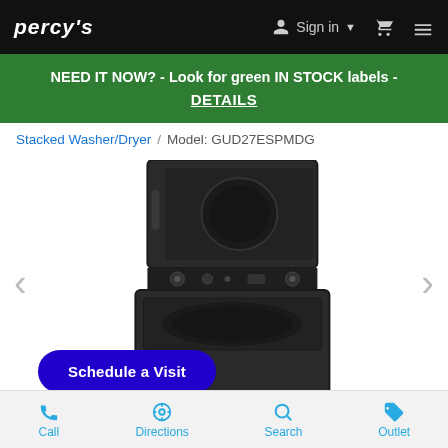PERCYS | Sign in | Cart | Menu
NEED IT NOW? - Look for green IN STOCK labels - DETAILS
Stacked Washer/Dryer / Model: GUD27ESPMDG
[Figure (photo): Black stacked washer/dryer unit (GE model GUD27ESPMDG) shown against white background. The appliance has a dryer on top and washer on bottom, both in dark graphite finish. Left and right navigation arrows are visible.]
Schedule a Visit
Call | Directions | Search | Outlet